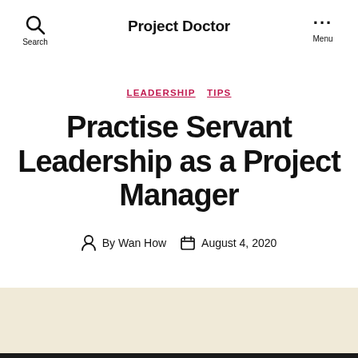Project Doctor
LEADERSHIP  TIPS
Practise Servant Leadership as a Project Manager
By Wan How   August 4, 2020